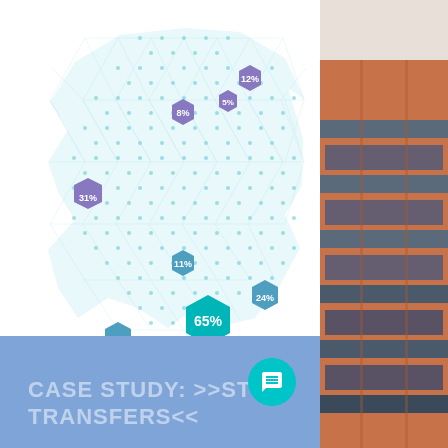[Figure (infographic): Hexagonal grid map infographic showing percentage values in colored hexagons: 8% (purple), 12% (purple), 5% (purple), 31% (purple), 11% (blue), 24% (blue, right), 24% (blue, left), 65% (teal/green, large center)]
REQUEST DATA SURVEY
CASE STUDY: >>STOCK TRANSFERS<<